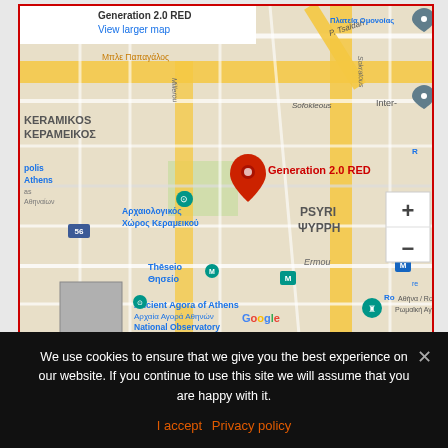[Figure (map): Google Maps screenshot showing location of Generation 2.0 RED in the Keramikos/Psyri area of Athens, Greece. Red pin marks the location. Shows street names including Sofokleous, Ermou, P. Tsaldari. Nearby landmarks: Archaeological site of Keramikos, Ancient Agora of Athens, Thiseio metro station. Map data ©2022 Google.]
We use cookies to ensure that we give you the best experience on our website. If you continue to use this site we will assume that you are happy with it.
I accept   Privacy policy